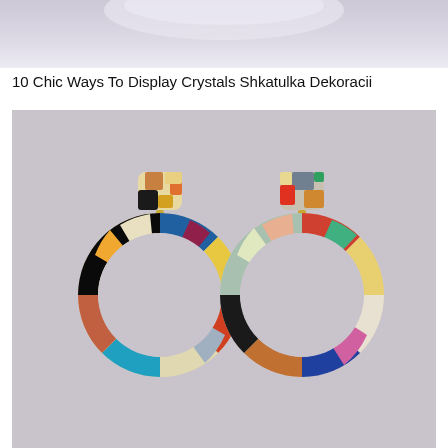[Figure (photo): Top portion of an image showing a light lavender/grey background, partially cropped at top of page]
10 Chic Ways To Display Crystals Shkatulka Dekoracii
[Figure (photo): Photo of two colorful resin/acetate hoop earrings with mosaic multicolor tortoiseshell pattern in reds, blues, yellows, blacks, and whites, displayed on a lavender-grey background]